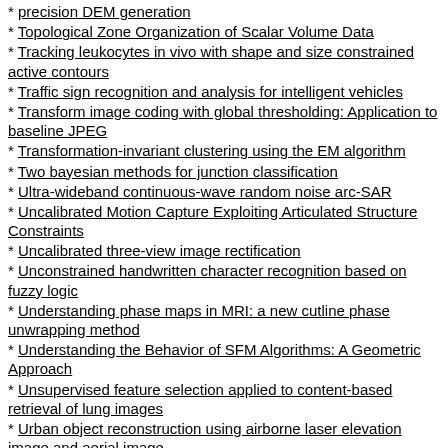precision DEM generation
Topological Zone Organization of Scalar Volume Data
Tracking leukocytes in vivo with shape and size constrained active contours
Traffic sign recognition and analysis for intelligent vehicles
Transform image coding with global thresholding: Application to baseline JPEG
Transformation-invariant clustering using the EM algorithm
Two bayesian methods for junction classification
Ultra-wideband continuous-wave random noise arc-SAR
Uncalibrated Motion Capture Exploiting Articulated Structure Constraints
Uncalibrated three-view image rectification
Unconstrained handwritten character recognition based on fuzzy logic
Understanding phase maps in MRI: a new cutline phase unwrapping method
Understanding the Behavior of SFM Algorithms: A Geometric Approach
Unsupervised feature selection applied to content-based retrieval of lung images
Urban object reconstruction using airborne laser elevation image and aerial image
Using an ICA representation of local color histograms for object recognition